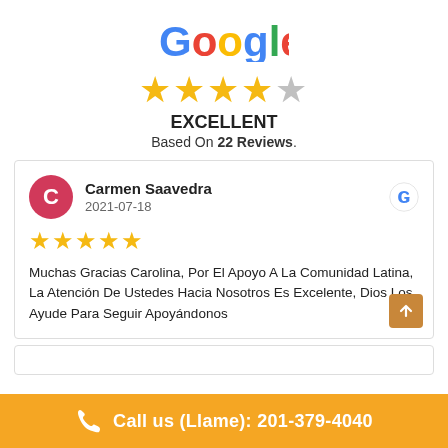[Figure (logo): Google logo in multicolor (blue, red, yellow, green letters)]
[Figure (other): 4.5 out of 5 stars rating (4 gold stars and 1 half gray star)]
EXCELLENT
Based On 22 Reviews.
Carmen Saavedra
2021-07-18
[Figure (other): 5 gold stars review rating]
Muchas Gracias Carolina, Por El Apoyo A La Comunidad Latina, La Atención De Ustedes Hacia Nosotros Es Excelente, Dios Los Ayude Para Seguir Apoyándonos
Call us (Llame): 201-379-4040